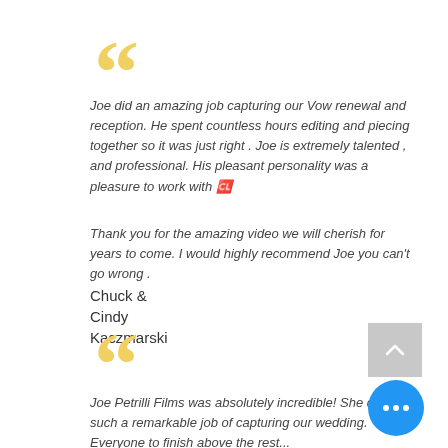[Figure (illustration): Large yellow decorative opening quotation marks]
Joe did an amazing job capturing our Vow renewal and reception. He spent countless hours editing and piecing together so it was just right . Joe is extremely talented , and professional. His pleasant personality was a pleasure to work with 🍷
Thank you for the amazing video we will cherish for years to come. I would highly recommend Joe you can't go wrong .
Chuck &
Cindy
Kaczmarski
[Figure (illustration): Gray back-to-top button with upward chevron]
[Figure (illustration): Large yellow decorative opening quotation marks]
Joe Petrilli Films was absolutely incredible! She did such a remarkable job of capturing our wedding. Everyone to finish above the rest...